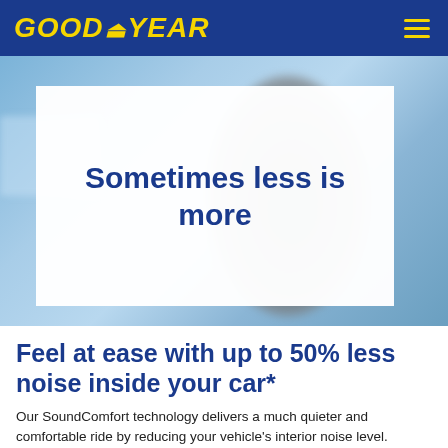GOODYEAR
[Figure (photo): Blurred background hero image of a Goodyear tire with a white semi-transparent card overlay displaying the text 'Sometimes less is more']
Sometimes less is more
Feel at ease with up to 50% less noise inside your car*
Our SoundComfort technology delivers a much quieter and comfortable ride by reducing your vehicle's interior noise level.
Click the image to see the key differences between...